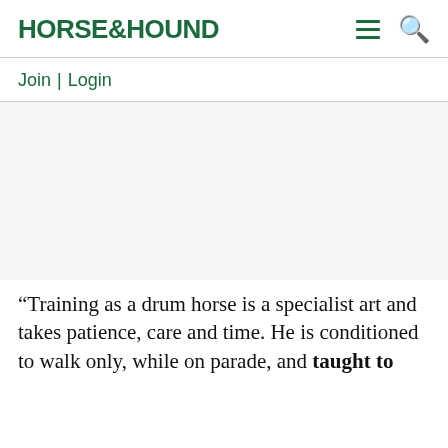HORSE&HOUND
Join | Login
[Figure (photo): Empty image placeholder area]
“Training as a drum horse is a specialist art and takes patience, care and time. He is conditioned to walk only, while on parade, and taught to